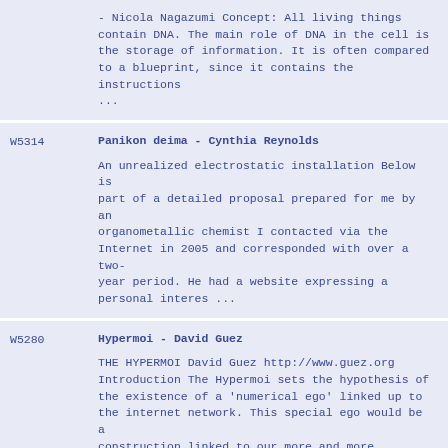- Nicola Nagazumi Concept: All living things contain DNA. The main role of DNA in the cell is the storage of information. It is often compared to a blueprint, since it contains the instructions ...
W5314
Panikon deima - Cynthia Reynolds
An unrealized electrostatic installation Below is part of a detailed proposal prepared for me by an organometallic chemist I contacted via the Internet in 2005 and corresponded with over a two-year period. He had a website expressing a personal interes ...
W5280
Hypermoi - David Guez
THE HYPERMOI David Guez http://www.guez.org Introduction The Hypermoi sets the hypothesis of the existence of a 'numerical ego' linked up to the internet network. This special ego would be a construction linked to our more and more 'emotional' and 'intens ...
W5133
Lost Heritage in Dark Museum  - Yochai Avrahami
Lost Heritage in Dark Museum - Yochai Avrahami The project suggests installation of few displays, ...